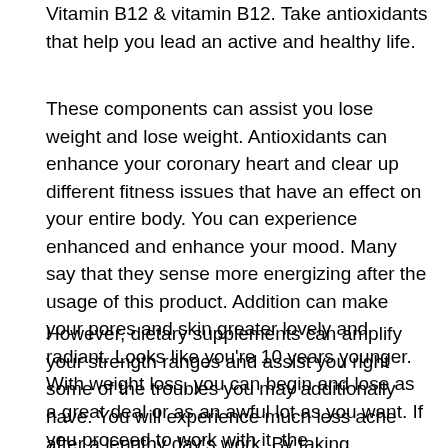Vitamin B12 & vitamin B12. Take antioxidants that help you lead an active and healthy life.
These components can assist you lose weight and lose weight. Antioxidants can enhance your coronary heart and clear up different fitness issues that have an effect on your entire body. You can experience enhanced and enhance your mood. Many say that they sense more energizing after the usage of this product. Addition can make your pores and skin greater lovely and radiant. Looks like you're 10 years younger. With weight loss, you can begin and lose as a great deal or as an awful lot as you want. If you proceed to work with it, the consequences will be immediate.
However, dietary supplements can amplify your strength ranges and assist you right some of the troubles you may additionally have. You will experience much less ache after a lengthy day's work. By taking nutritional vitamins like B12 and L-tyrosine, you can loosen up extra without difficulty and now not get tired. Adimin is additionally used to deal with infections.